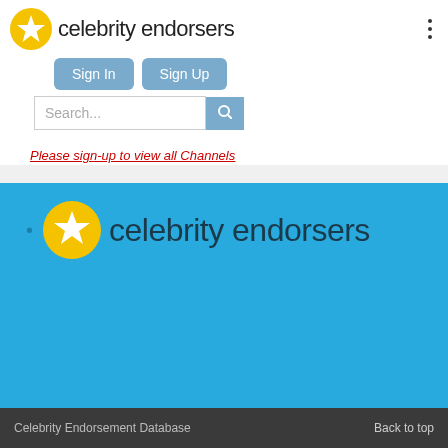[Figure (logo): Celebrity Endorsers logo with gold star icon and site name in top header]
Sign In
Sign Up
Search...
Please sign-up to view all Channels
[Figure (logo): Celebrity Endorsers logo with gold star on yellow circle on blue background in footer]
Copyright © 2022 Celebrity Endorsers
Terms of Use
Privacy Policy
Contact
Celebrity Endorsement Database
Back to top